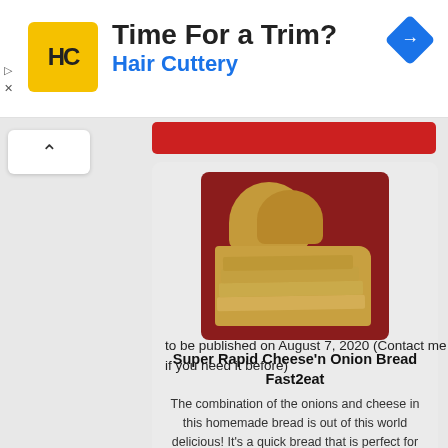[Figure (screenshot): Hair Cuttery advertisement banner with yellow HC logo, 'Time For a Trim?' headline, 'Hair Cuttery' subheading in blue, and a blue navigation diamond icon on the right]
to be published on August 7, 2020 (Contact me if you need it before)
[Figure (photo): Photo of sliced homemade bread loaf on a red background/cutting board]
Super Rapid Cheese'n Onion Bread Fast2eat
The combination of the onions and cheese in this homemade bread is out of this world delicious! It's a quick bread that is perfect for grilled cheese sandwiches and also goes